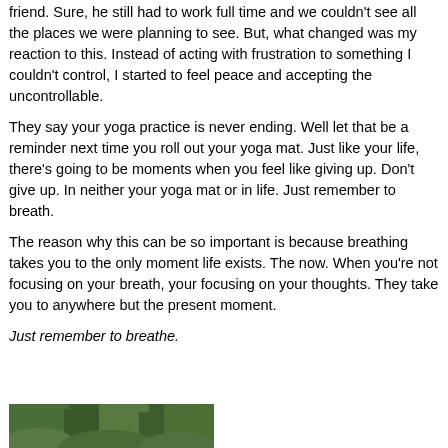friend. Sure, he still had to work full time and we couldn't see all the places we were planning to see. But, what changed was my reaction to this. Instead of acting with frustration to something I couldn't control, I started to feel peace and accepting the uncontrollable.
They say your yoga practice is never ending. Well let that be a reminder next time you roll out your yoga mat. Just like your life, there's going to be moments when you feel like giving up. Don't give up. In neither your yoga mat or in life. Just remember to breath.
The reason why this can be so important is because breathing takes you to the only moment life exists. The now. When you're not focusing on your breath, your focusing on your thoughts. They take you to anywhere but the present moment.
Just remember to breathe.
[Figure (photo): Partial view of a nature/outdoor photo at the bottom of the page, showing green foliage or forest scenery.]